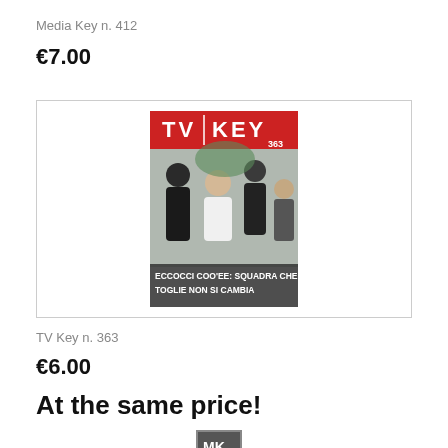Media Key n. 412
€7.00
[Figure (photo): Cover of TV Key magazine issue 363, showing four people posing together with headline text 'ECCOCCI COO'EE: SQUADRA CHE TOGLIE NON SI CAMBIA']
TV Key n. 363
€6.00
At the same price!
[Figure (photo): Small thumbnail of MK magazine cover]